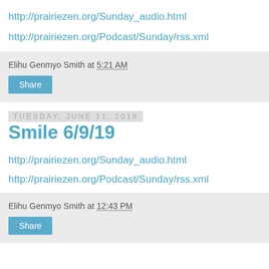http://prairiezen.org/Sunday_audio.html
http://prairiezen.org/Podcast/Sunday/rss.xml
Elihu Genmyo Smith at 5:21 AM
Share
Tuesday, June 11, 2019
Smile 6/9/19
http://prairiezen.org/Sunday_audio.html
http://prairiezen.org/Podcast/Sunday/rss.xml
Elihu Genmyo Smith at 12:43 PM
Share